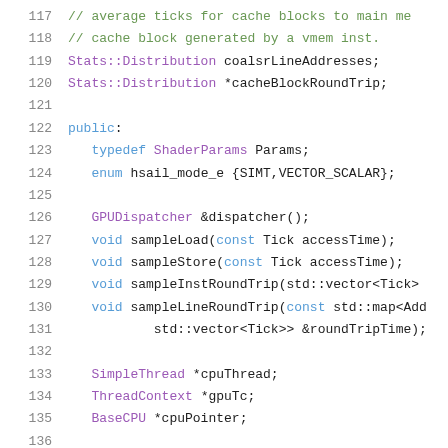[Figure (screenshot): Source code snippet (C++) showing lines 117-137 with syntax highlighting. Lines 117-120: comments and Stats::Distribution members. Lines 122-124: public section with typedef and enum. Lines 126-131: method declarations. Lines 133-135: pointer members. Line 137: const ApertureRegister& declaration.]